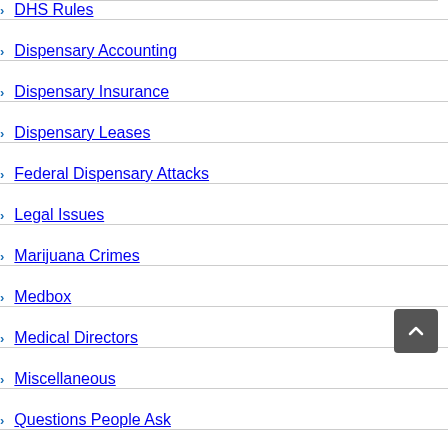> DHS Rules
> Dispensary Accounting
> Dispensary Insurance
> Dispensary Leases
> Federal Dispensary Attacks
> Legal Issues
> Marijuana Crimes
> Medbox
> Medical Directors
> Miscellaneous
> Questions People Ask